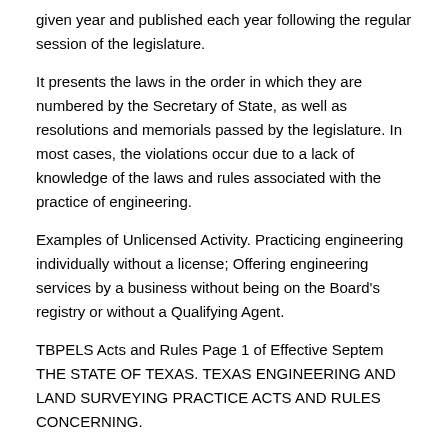given year and published each year following the regular session of the legislature.
It presents the laws in the order in which they are numbered by the Secretary of State, as well as resolutions and memorials passed by the legislature. In most cases, the violations occur due to a lack of knowledge of the laws and rules associated with the practice of engineering.
Examples of Unlicensed Activity. Practicing engineering individually without a license; Offering engineering services by a business without being on the Board's registry or without a Qualifying Agent.
TBPELS Acts and Rules Page 1 of Effective Septem THE STATE OF TEXAS. TEXAS ENGINEERING AND LAND SURVEYING PRACTICE ACTS AND RULES CONCERNING.
PRACTICE AND LICENSURE. Article Date: 26th September In Brief: Importance of the Law in the Architectural profession By Saro Boghossian It is well known that architects throughout the profession engage in a.